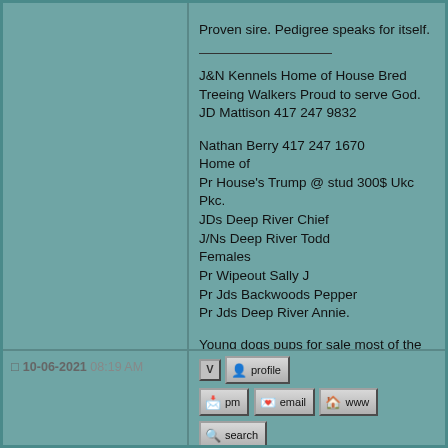Proven sire. Pedigree speaks for itself.

__________________________
J&N Kennels Home of House Bred Treeing Walkers Proud to serve God. JD Mattison 417 247 9832

Nathan Berry 417 247 1670
Home of
Pr House's Trump @ stud 300$ Ukc Pkc.
JDs Deep River Chief
J/Ns Deep River Todd
Females
Pr Wipeout Sally J
Pr Jds Backwoods Pepper
Pr Jds Deep River Annie.

Young dogs pups for sale most of the
Time.
Report this post to a moderator | IP: Logged
[Figure (screenshot): Forum action buttons: V (post marker), profile, pm, email, www, search icon buttons]
10-06-2021 08:19 AM